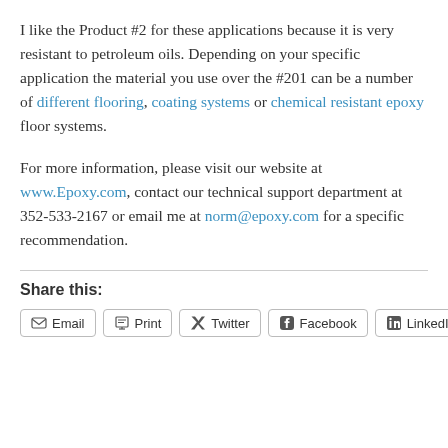I like the Product #2 for these applications because it is very resistant to petroleum oils. Depending on your specific application the material you use over the #201 can be a number of different flooring, coating systems or chemical resistant epoxy floor systems.
For more information, please visit our website at www.Epoxy.com, contact our technical support department at 352-533-2167 or email me at norm@epoxy.com for a specific recommendation.
Share this:
Email  Print  Twitter  Facebook  LinkedIn